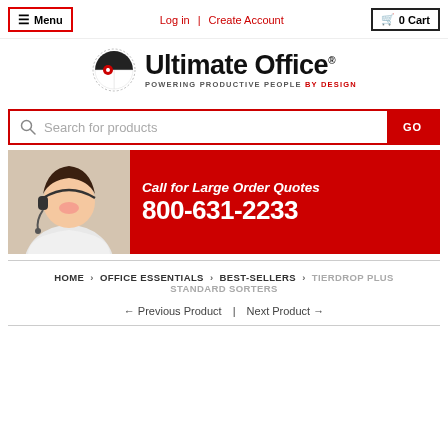☰ Menu | Log in | Create Account | 🛒 0 Cart
[Figure (logo): Ultimate Office logo with circular icon and tagline POWERING PRODUCTIVE PEOPLE BY DESIGN]
Search for products
[Figure (infographic): Red banner with woman wearing headset and text: Call for Large Order Quotes 800-631-2233]
HOME › OFFICE ESSENTIALS › BEST-SELLERS › TIERDROP PLUS STANDARD SORTERS
← Previous Product | Next Product →